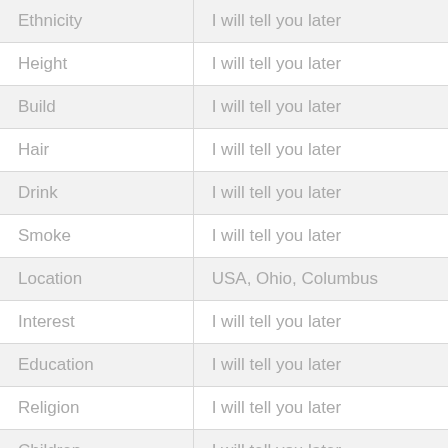| Ethnicity | I will tell you later |
| Height | I will tell you later |
| Build | I will tell you later |
| Hair | I will tell you later |
| Drink | I will tell you later |
| Smoke | I will tell you later |
| Location | USA, Ohio, Columbus |
| Interest | I will tell you later |
| Education | I will tell you later |
| Religion | I will tell you later |
| Children | I will tell you later |